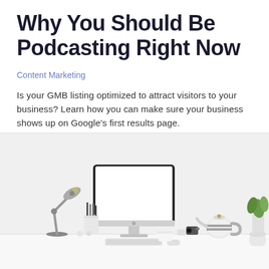Why You Should Be Podcasting Right Now
Content Marketing
Is your GMB listing optimized to attract visitors to your business? Learn how you can make sure your business shows up on Google’s first results page.
[Figure (photo): A minimalist white desk scene featuring an iMac computer with a blank white screen, a silver desk lamp, a pencil holder cup, a small teapot, a small plant, a camera, and various desk accessories arranged on a white surface.]